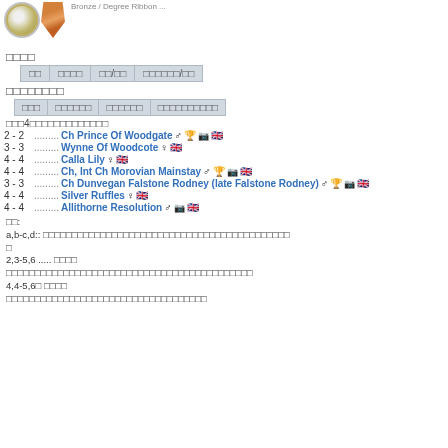[Figure (illustration): Silver medal and bronze ribbon award icons at top left, with partial text label at top right]
□□□□
| □□ | □□□□ | □□/□□ | □□□□□□/□□ |
| --- | --- | --- | --- |
□□□□□□□□
| □□□ | □□□□□□ | □□□□□□ | □□□□□□□□□□ |
| --- | --- | --- | --- |
□□□4□□□□□□□□□□□□□
2 - 2 ......... Ch Prince Of Woodgate ♂ 🏆 📷 🇬🇧
3 - 3 ......... Wynne Of Woodcote ♀ 🇬🇧
4 - 4 ......... Calla Lily ♀ 🇬🇧
4 - 4 ......... Ch, Int Ch Morovian Mainstay ♂ 🏆 📷 🇬🇧
3 - 3 ......... Ch Dunvegan Falstone Rodney (late Falstone Rodney) ♂ 🏆 📷 🇬🇧
4 - 4 ......... Silver Ruffles ♀ 🇬🇧
4 - 4 ......... Allithorne Resolution ♂ 📷 🇬🇧
□□:
a,b-c,d:: □□□□□□□□□□□□□□□□□□□□□□□□□□□□□□□□□□□□□□□□□□□
□
2,3-5,6 ..... □□□□
□□□□□□□□□□□□□□□□□□□□□□□□□□□□□□□□□□□□□□□□□□□
4,4-5,6□ □□□□
□□□□□□□□□□□□□□□□□□□□□□□□□□□□□□□□□□□